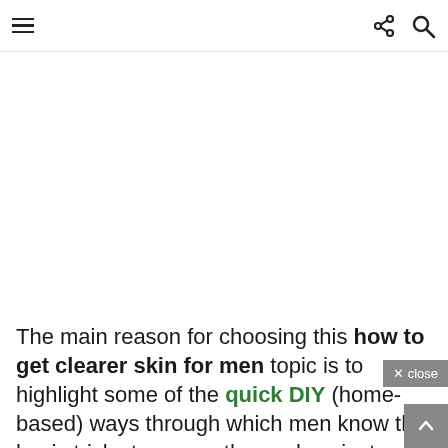≡  share  search
The main reason for choosing this how to get clearer skin for men topic is to highlight some of the quick DIY (home-based) ways through which men know the basic tricks to groom themselves instead of getting or